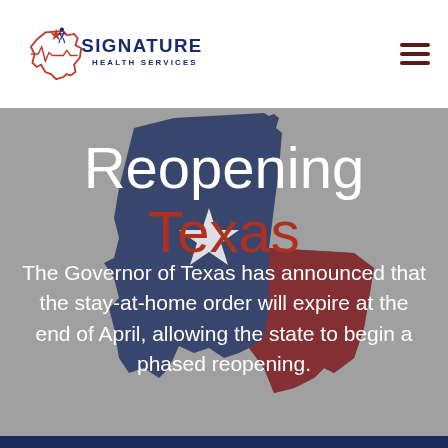[Figure (logo): Signature Health Services logo with Texas outline and star, red and navy colors]
Reopening Texas
The Governor of Texas has announced that the stay-at-home order will expire at the end of April, allowing the state to begin a phased reopening.